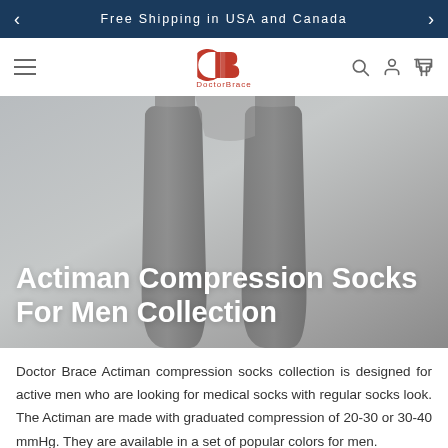Free Shipping in USA and Canada
[Figure (logo): Doctor Brace logo with CB monogram in red and brand name below]
Actiman Compression Socks For Men Collection
[Figure (photo): Close-up of two dark gray compression socks displayed against a gray background]
Doctor Brace Actiman compression socks collection is designed for active men who are looking for medical socks with regular socks look. The Actiman are made with graduated compression of 20-30 or 30-40 mmHg. They are available in a set of popular colors for men.